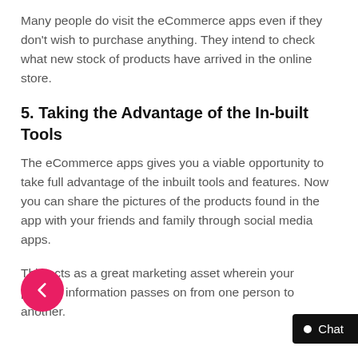Many people do visit the eCommerce apps even if they don't wish to purchase anything. They intend to check what new stock of products have arrived in the online store.
5. Taking the Advantage of the In-built Tools
The eCommerce apps gives you a viable opportunity to take full advantage of the inbuilt tools and features. Now you can share the pictures of the products found in the app with your friends and family through social media apps.
This acts as a great marketing asset wherein your product information passes on from one person to another.